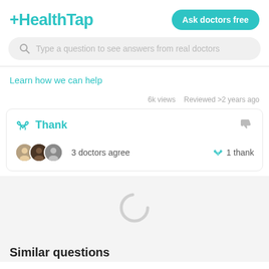[Figure (logo): HealthTap logo in teal color with plus sign]
Ask doctors free
[Figure (screenshot): Search bar with placeholder: Type a question to see answers from real doctors]
Learn how we can help
6k views   Reviewed >2 years ago
Thank
3 doctors agree
1 thank
[Figure (illustration): Loading spinner circle in gray]
Similar questions